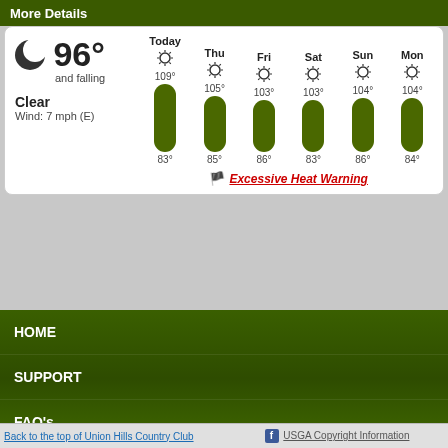More Details
[Figure (infographic): Weather widget showing current conditions: 96° and falling, Clear, Wind: 7 mph (E). 7-day forecast with high/low temperatures: Today 109°/83°, Thu 105°/85°, Fri 103°/86°, Sat 103°/83°, Sun 104°/86°, Mon 104°/84°. Green pill-shaped temperature bars shown for each day. Excessive Heat Warning displayed in red italic underlined text.]
HOME
SUPPORT
FAQ's
USGA Copyright Information | Back to the top of Union Hills Country Club